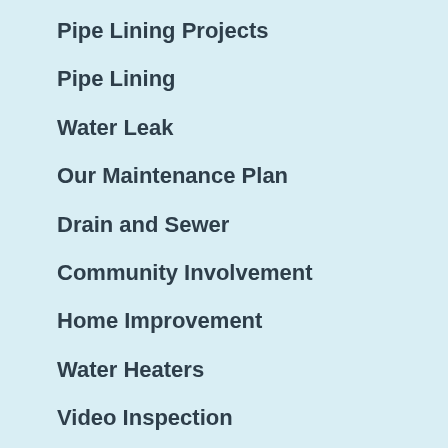Pipe Lining Projects
Pipe Lining
Water Leak
Our Maintenance Plan
Drain and Sewer
Community Involvement
Home Improvement
Water Heaters
Video Inspection
Sewer Lines